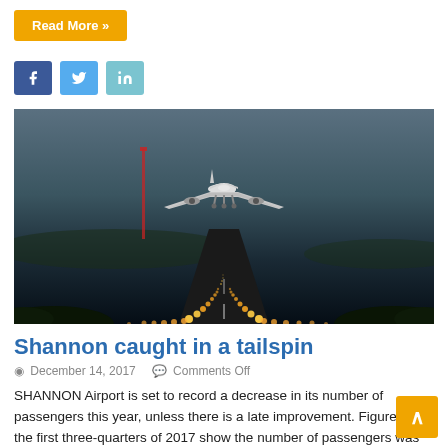Read More »
[Figure (other): Social media sharing buttons: Facebook (blue), Twitter (light blue), LinkedIn (teal)]
[Figure (photo): Photograph of a large commercial airplane landing on an illuminated runway at dusk/night, taken from ground level behind the aircraft, showing runway lights stretching into the distance]
Shannon caught in a tailspin
December 14, 2017   Comments Off
SHANNON Airport is set to record a decrease in its number of passengers this year, unless there is a late improvement. Figures for the first three-quarters of 2017 show the number of passengers was